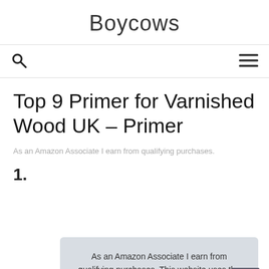Boycows
Top 9 Primer for Varnished Wood UK – Primer
As an Amazon Associate I earn from qualifying purchases.
1.
As an Amazon Associate I earn from qualifying purchases. This website uses the only necessary cookies to ensure you get the best experience on our website. More information